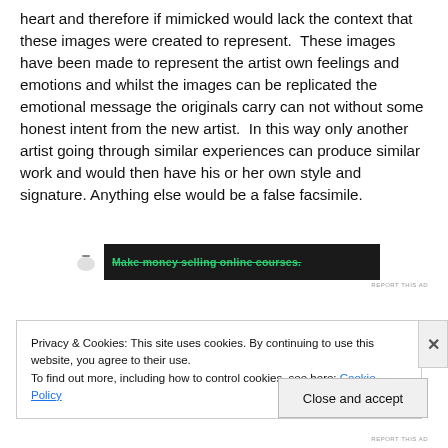heart and therefore if mimicked would lack the context that these images were created to represent. These images have been made to represent the artist own feelings and emotions and whilst the images can be replicated the emotional message the originals carry can not without some honest intent from the new artist. In this way only another artist going through similar experiences can produce similar work and would then have his or her own style and signature. Anything else would be a false facsimile.
[Figure (other): Dark advertisement banner with logo and green text reading 'Make money selling online courses.']
REPORT THIS AD
Privacy & Cookies: This site uses cookies. By continuing to use this website, you agree to their use.
To find out more, including how to control cookies, see here: Cookie Policy
Close and accept